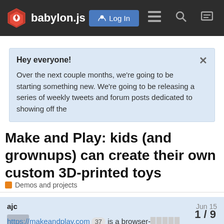[Figure (screenshot): Babylon.js forum website navigation bar with logo, Log In button, and icons]
Hey everyone!
Over the next couple months, we're going to be starting something new. We're going to be releasing a series of weekly tweets and forum posts dedicated to showing off the
Make and Play: kids (and grownups) can create their own custom 3D-printed toys
Demos and projects
ajc
Jun 15
https://makeandplay.com  37  is a browser- allows kids, grown-ups, or anyone else to c life to existing characters or 3D objects. Th
1 / 9